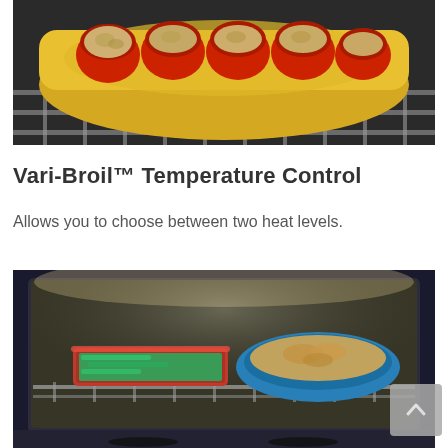[Figure (photo): A yellow ceramic baking dish containing stuffed red bell peppers filled with a cheesy, meaty topping, resting on an oven rack.]
Vari-Broil™ Temperature Control
Allows you to choose between two heat levels.
[Figure (photo): An open oven with two dishes on a rack: a red rectangular dish with green beans and a blue round dish with a casserole, illuminated by oven light.]